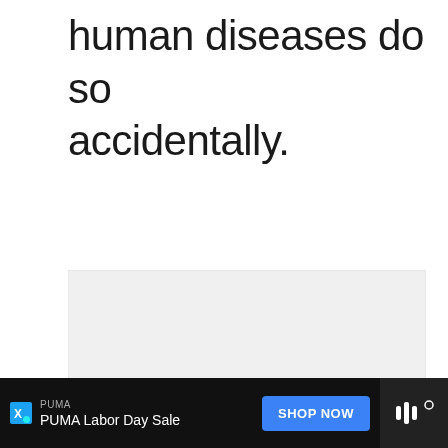human diseases do so accidentally.
[Figure (other): Video player area with gray background, showing loading dots (three small gray squares) in the center. Overlaid UI elements include a blue circular like/heart button, a like count of 2, a share button, and a 'What's Next' panel showing a thumbnail and text 'Beneficial Bacteria: 12...']
PUMA | PUMA Labor Day Sale | SHOP NOW